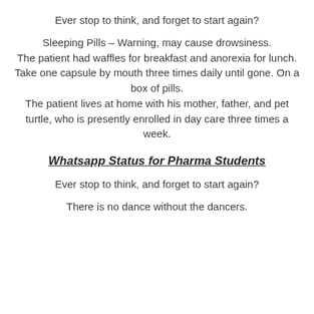Ever stop to think, and forget to start again?
Sleeping Pills – Warning, may cause drowsiness. The patient had waffles for breakfast and anorexia for lunch. Take one capsule by mouth three times daily until gone. On a box of pills. The patient lives at home with his mother, father, and pet turtle, who is presently enrolled in day care three times a week.
Whatsapp Status for Pharma Students
Ever stop to think, and forget to start again?
There is no dance without the dancers.